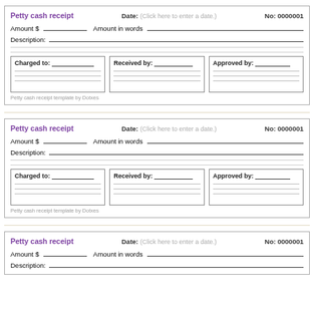Petty cash receipt
Date: (Click here to enter a date.)  No: 0000001
Amount $  Amount in words
Description:
Charged to:   Received by:   Approved by:
Petty cash receipt template by Dotxes
Petty cash receipt
Date: (Click here to enter a date.)  No: 0000001
Amount $  Amount in words
Description:
Charged to:   Received by:   Approved by:
Petty cash receipt template by Dotxes
Petty cash receipt
Date: (Click here to enter a date.)  No: 0000001
Amount $  Amount in words
Description: